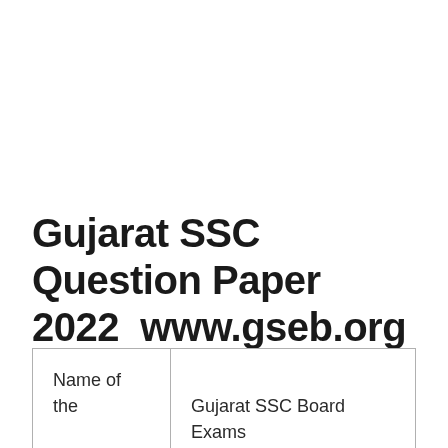Gujarat SSC Question Paper 2022  www.gseb.org
| Name of the Exam | Gujarat SSC Board Exams |
| Conducting | Gujarat Secondary and Higher Secondary Education |